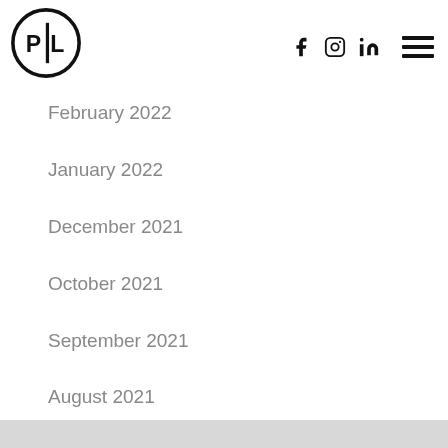[Figure (logo): PL logo: circle with P|L text inside]
[Figure (infographic): Social media icons: Facebook, Instagram, LinkedIn, and hamburger menu]
February 2022
January 2022
December 2021
October 2021
September 2021
August 2021